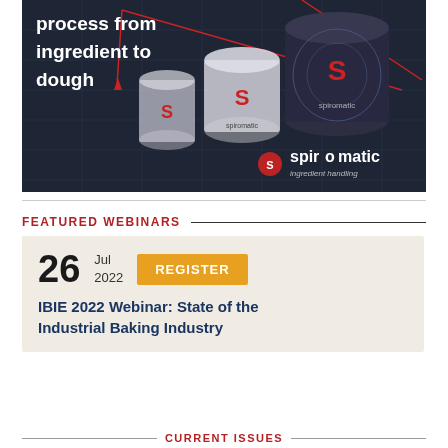[Figure (illustration): Spiromatic advertisement showing industrial silos/tanks on a dark blueprint-style background with red accent lines. Text reads 'process from ingredient to dough' with Spiromatic logo and 'ingredient handling' tagline.]
FEATURED WEBINARS
26 Jul 2022 REGISTER
IBIE 2022 Webinar: State of the Industrial Baking Industry
CURRENT ISSUES